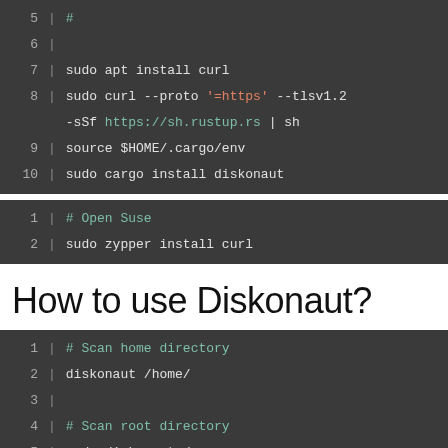[Figure (screenshot): Code block showing lines 5-10: line 5 has '#', line 6 is empty, line 7 'sudo apt install curl', line 8 'sudo curl --proto =https --tlsv1.2 -sSf https://sh.rustup.rs | sh', line 9 'source $HOME/.cargo/env', line 10 'sudo cargo install diskonaut']
[Figure (screenshot): Code block showing lines 1-2: line 1 '# Open Suse' (comment), line 2 'sudo zypper install curl']
How to use Diskonaut?
[Figure (screenshot): Code block showing lines 1-5: line 1 '# Scan home directory' (comment), line 2 'diskonaut /home/', line 3 empty, line 4 '# Scan root directory' (comment), line 5 'sudo diskonaut /']